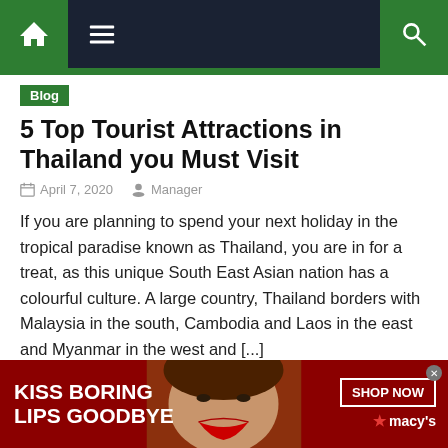[Figure (screenshot): Navigation bar with home icon (green), hamburger menu icon, and search icon (green) on dark navy background]
Blog
5 Top Tourist Attractions in Thailand you Must Visit
April 7, 2020   Manager
If you are planning to spend your next holiday in the tropical paradise known as Thailand, you are in for a treat, as this unique South East Asian nation has a colourful culture. A large country, Thailand borders with Malaysia in the south, Cambodia and Laos in the east and Myanmar in the west and [...]
[Figure (photo): Partial photo of outdoor scene with cars and people]
[Figure (infographic): Macy's advertisement banner: KISS BORING LIPS GOODBYE with woman's face and red lips, SHOP NOW button and Macy's star logo]